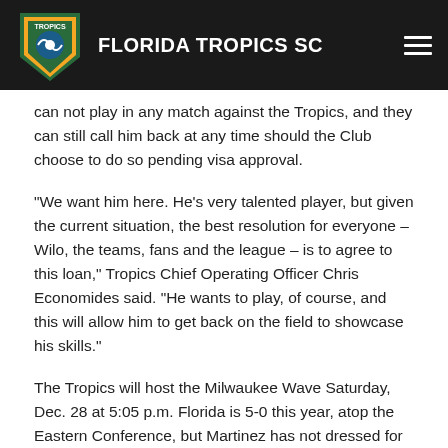FLORIDA TROPICS SC
can not play in any match against the Tropics, and they can still call him back at any time should the Club choose to do so pending visa approval.
"We want him here. He's very talented player, but given the current situation, the best resolution for everyone – Wilo, the teams, fans and the league – is to agree to this loan," Tropics Chief Operating Officer Chris Economides said. "He wants to play, of course, and this will allow him to get back on the field to showcase his skills."
The Tropics will host the Milwaukee Wave Saturday, Dec. 28 at 5:05 p.m. Florida is 5-0 this year, atop the Eastern Conference, but Martinez has not dressed for any of the games.